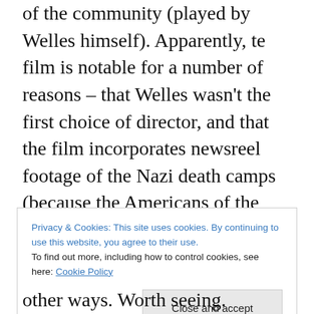of the community (played by Welles himself). Apparently, te film is notable for a number of reasons – that Welles wasn't the first choice of director, and that the film incorporates newsreel footage of the Nazi death camps (because the Americans of the time didn't really think they ever existed; some still don't). My admiration for Welles's work has grown over the past couple of years, and although it's all too easy to forget quite how ground-breaking Citizen Kane was when it was made, so it's easy to forget that many of his later films weren't as straightforward as they initially appeared. The Stranger is
Privacy & Cookies: This site uses cookies. By continuing to use this website, you agree to their use. To find out more, including how to control cookies, see here: Cookie Policy
other ways. Worth seeing.